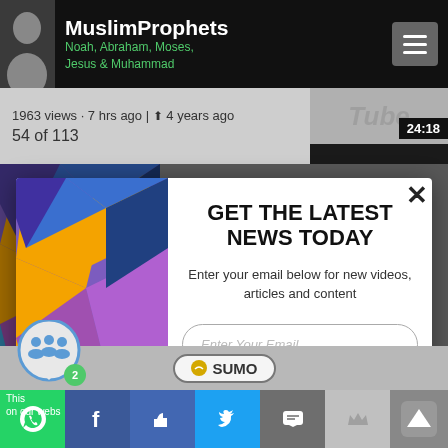MuslimProphets — Noah, Abraham, Moses, Jesus & Muhammad
1963 views · 7 hrs ago | 4 years ago
54 of 113
[Figure (screenshot): Colorful geometric 3D cube pattern in blues, oranges, purples and pinks on the left side of the modal]
GET THE LATEST NEWS TODAY
Enter your email below for new videos, articles and content
Enter Your Email
SUBSCRIBE NOW
No Thanks
SUMO
2
This  on our webs